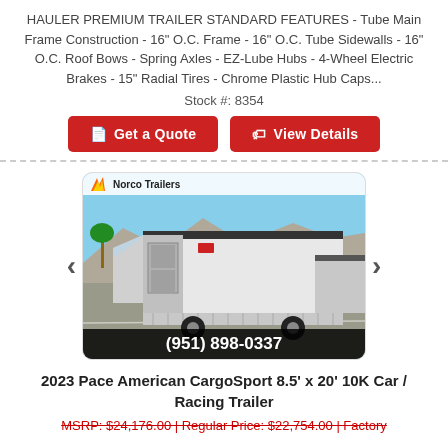HAULER PREMIUM TRAILER STANDARD FEATURES - Tube Main Frame Construction - 16" O.C. Frame - 16" O.C. Tube Sidewalls - 16" O.C. Roof Bows - Spring Axles - EZ-Lube Hubs - 4-Wheel Electric Brakes - 15" Radial Tires - Chrome Plastic Hub Caps...
Stock #: 8354
Get a Quote
View Details
[Figure (photo): White enclosed cargo/racing trailer parked in lot, Norco Trailers branding in top left, phone number (951) 898-0337 on black bar at bottom]
2023 Pace American CargoSport 8.5' x 20' 10K Car / Racing Trailer
MSRP: $24,176.00 | Regular Price: $22,754.00 | Factory